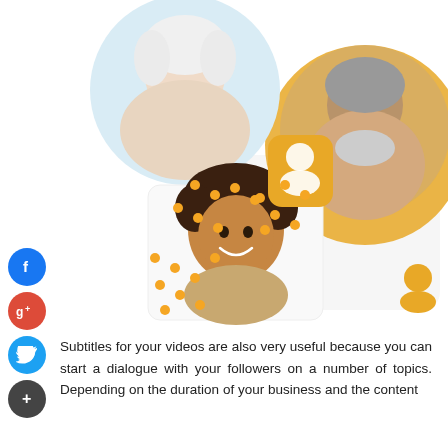[Figure (illustration): Collage of three people (elderly woman top-left in circular crop, older bearded man top-right in golden circle, young woman bottom-center in square card), decorative orange dots, a golden profile icon card, a small golden person icon, and four social media buttons on the left (Facebook, Google+, Twitter, plus).]
Subtitles for your videos are also very useful because you can start a dialogue with your followers on a number of topics. Depending on the duration of your business and the content